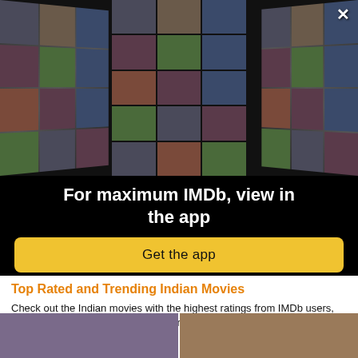[Figure (photo): Large collage of celebrity photos and movie posters arranged in a 3D perspective grid on a black background, forming the hero image of an IMDb app promotion.]
For maximum IMDb, view in the app
Get the app
Top Rated and Trending Indian Movies
Check out the Indian movies with the highest ratings from IMDb users, as well as the movies that are trending in real time.
[Figure (photo): Two thumbnail movie/person images at the bottom of the page, partially cut off.]